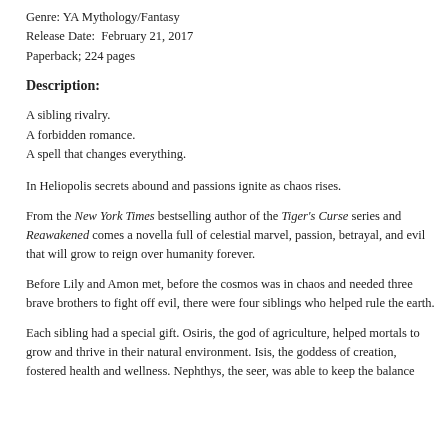Genre: YA Mythology/Fantasy
Release Date:  February 21, 2017
Paperback; 224 pages
Description:
A sibling rivalry.
A forbidden romance.
A spell that changes everything.
In Heliopolis secrets abound and passions ignite as chaos rises.
From the New York Times bestselling author of the Tiger's Curse series and Reawakened comes a novella full of celestial marvel, passion, betrayal, and evil that will grow to reign over humanity forever.
Before Lily and Amon met, before the cosmos was in chaos and needed three brave brothers to fight off evil, there were four siblings who helped rule the earth.
Each sibling had a special gift. Osiris, the god of agriculture, helped mortals to grow and thrive in their natural environment. Isis, the goddess of creation, fostered health and wellness. Nephthys, the seer, was able to keep the balance